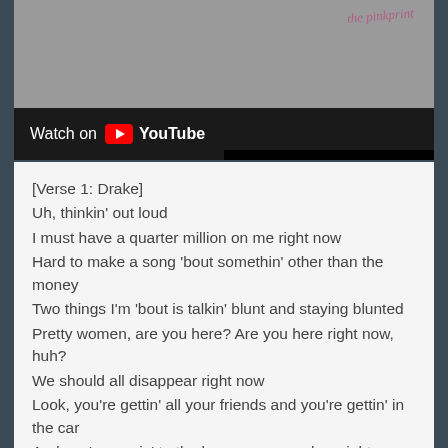[Figure (screenshot): YouTube video thumbnail showing 'Watch on YouTube' overlay with black bar and gray video background. A cursive pink text 'the pinkprint' is visible in the top right of the thumbnail.]
[Verse 1: Drake]
Uh, thinkin' out loud
I must have a quarter million on me right now
Hard to make a song 'bout somethin' other than the money
Two things I'm 'bout is talkin' blunt and staying blunted
Pretty women, are you here? Are you here right now, huh?
We should all disappear right now
Look, you're gettin' all your friends and you're gettin' in the car
And you're comin' to the house, are we clear right now, huh?
You see the fleet of all the new things
Gop cars with the loose change, all white like I move